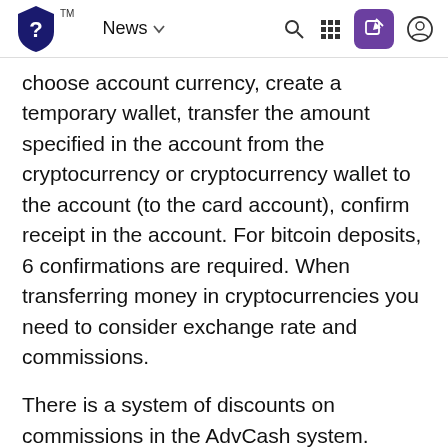News
choose account currency, create a temporary wallet, transfer the amount specified in the account from the cryptocurrency or cryptocurrency wallet to the account (to the card account), confirm receipt in the account. For bitcoin deposits, 6 confirmations are required. When transferring money in cryptocurrencies you need to consider exchange rate and commissions.
There is a system of discounts on commissions in the AdvCash system. Information about discounts is published on AdvCash pages in social networks. To pay for the card you need to deposit money from